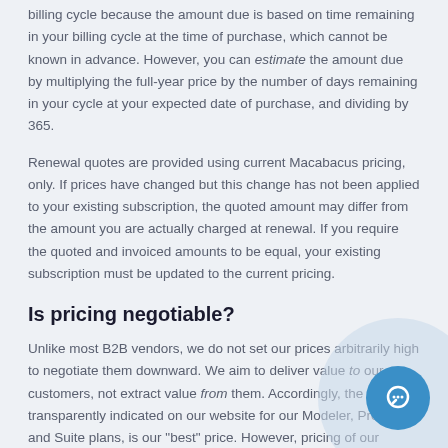billing cycle because the amount due is based on time remaining in your billing cycle at the time of purchase, which cannot be known in advance. However, you can estimate the amount due by multiplying the full-year price by the number of days remaining in your cycle at your expected date of purchase, and dividing by 365.
Renewal quotes are provided using current Macabacus pricing, only. If prices have changed but this change has not been applied to your existing subscription, the quoted amount may differ from the amount you are actually charged at renewal. If you require the quoted and invoiced amounts to be equal, your existing subscription must be updated to the current pricing.
Is pricing negotiable?
Unlike most B2B vendors, we do not set our prices arbitrarily high to negotiate them downward. We aim to deliver value to our customers, not extract value from them. Accordingly, the pricing transparently indicated on our website for our Modeler, Presenter, and Suite plans, is our "best" price. However, pricing of our Enterprise plans may be tailored to your specific needs, and may match or outperform competitive bids at large licensing vo...